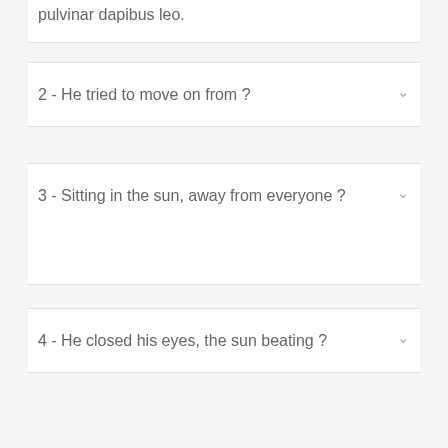pulvinar dapibus leo.
2 - He tried to move on from ?
3 - Sitting in the sun, away from everyone ?
4 - He closed his eyes, the sun beating ?